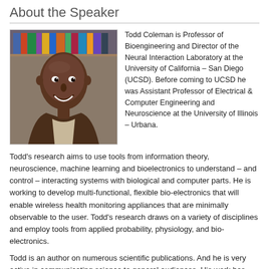About the Speaker
[Figure (photo): Portrait photo of Todd Coleman, a man smiling, in front of bookshelves]
Todd Coleman is Professor of Bioengineering and Director of the Neural Interaction Laboratory at the University of California – San Diego (UCSD). Before coming to UCSD he was Assistant Professor of Electrical & Computer Engineering and Neuroscience at the University of Illinois – Urbana.
Todd's research aims to use tools from information theory, neuroscience, machine learning and bioelectronics to understand – and control – interacting systems with biological and computer parts. He is working to develop multi-functional, flexible bio-electronics that will enable wireless health monitoring appliances that are minimally observable to the user. Todd's research draws on a variety of disciplines and employ tools from applied probability, physiology, and bio-electronics.
Todd is an author on numerous scientific publications. And he is very active in communicating science to general audiences. His work has been featured on